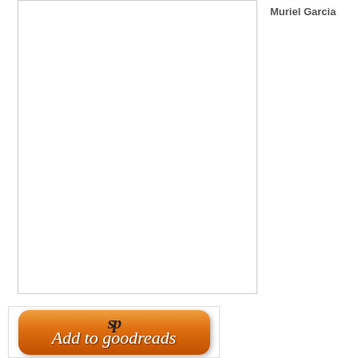[Figure (illustration): Book cover placeholder area — white rectangle with gray border]
Muriel Garcia
[Figure (logo): Add to goodreads button — orange rounded rectangle with 'sp' monogram at top and 'Add to goodreads' script text in white]